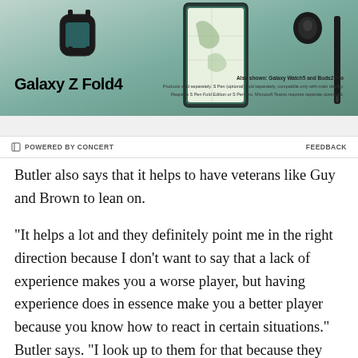[Figure (photo): Samsung Galaxy Z Fold4 advertisement showing the phone, Galaxy Watch5, Buds2 Pro, and S Pen against a teal/green gradient background. Bold text reads 'Galaxy Z Fold4'. Disclaimer text: 'Also shown: Galaxy Watch5 and Buds2 Pro. Products sold separately. S Pen (optional) sold separately, compatible only with main display. Requires S Pen Fold Edition or S Pen Pro. Microsoft Teams requires separate download.']
POWERED BY CONCERT
FEEDBACK
Butler also says that it helps to have veterans like Guy and Brown to lean on.
“It helps a lot and they definitely point me in the right direction because I don’t want to say that a lack of experience makes you a worse player, but having experience does in essence make you a better player because you know how to react in certain situations.” Butler says. “I look up to them for that because they have this experience, they know what they’re talking about. And when I apply whatever they tell me, it works out for me. It’s critical to have guys like that in the